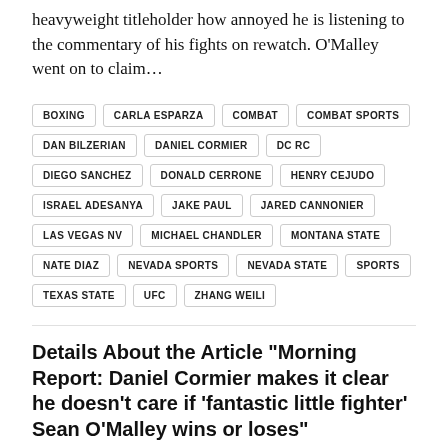heavyweight titleholder how annoyed he is listening to the commentary of his fights on rewatch. O'Malley went on to claim…
BOXING
CARLA ESPARZA
COMBAT
COMBAT SPORTS
DAN BILZERIAN
DANIEL CORMIER
DC RC
DIEGO SANCHEZ
DONALD CERRONE
HENRY CEJUDO
ISRAEL ADESANYA
JAKE PAUL
JARED CANNONIER
LAS VEGAS NV
MICHAEL CHANDLER
MONTANA STATE
NATE DIAZ
NEVADA SPORTS
NEVADA STATE
SPORTS
TEXAS STATE
UFC
ZHANG WEILI
Details About the Article "Morning Report: Daniel Cormier makes it clear he doesn't care if 'fantastic little fighter' Sean O'Malley wins or loses"
This article was originally published by MMA Fighting and was recommended by Ufc48.com a couple of days later due to its popularity. It has gotten a lot of attention, and to comments have been submitted since it